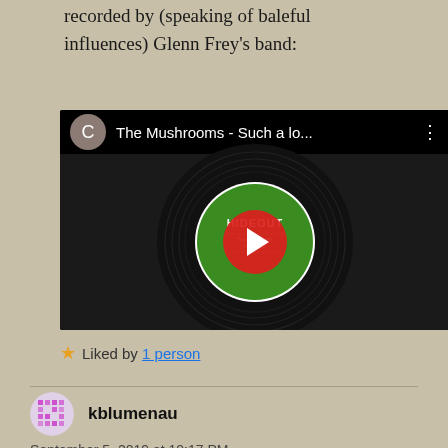recorded by (speaking of baleful influences) Glenn Frey's band:
[Figure (screenshot): YouTube video embed showing a vinyl record on a turntable. The video title reads 'The Mushrooms - Such a lo...' with a red play button in the center. A circular avatar with letter C is shown in the top-left corner.]
Liked by 1 person
kblumenau
September 5, 2019 at 10:17 PM